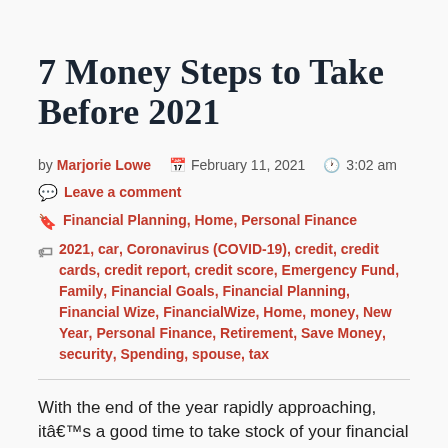7 Money Steps to Take Before 2021
by Marjorie Lowe   February 11, 2021   3:02 am
Leave a comment
Financial Planning, Home, Personal Finance
2021, car, Coronavirus (COVID-19), credit, credit cards, credit report, credit score, Emergency Fund, Family, Financial Goals, Financial Planning, Financial Wize, FinancialWize, Home, money, New Year, Personal Finance, Retirement, Save Money, security, Spending, spouse, tax
With the end of the year rapidly approaching, itâs a good time to take stock of your financial situation as you head into 2021. 2020 has been...